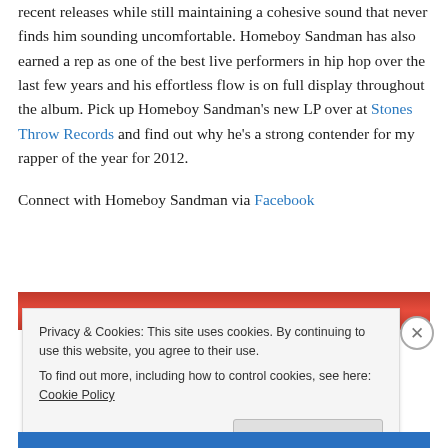recent releases while still maintaining a cohesive sound that never finds him sounding uncomfortable. Homeboy Sandman has also earned a rep as one of the best live performers in hip hop over the last few years and his effortless flow is on full display throughout the album. Pick up Homeboy Sandman's new LP over at Stones Throw Records and find out why he's a strong contender for my rapper of the year for 2012.
Connect with Homeboy Sandman via Facebook
[Figure (photo): Partial image strip showing red/dark background, partially obscured by cookie consent banner]
Privacy & Cookies: This site uses cookies. By continuing to use this website, you agree to their use.
To find out more, including how to control cookies, see here: Cookie Policy
Close and accept